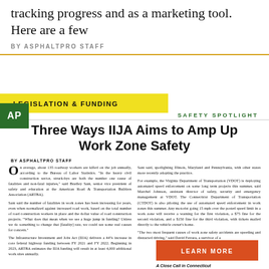tracking progress and as a marketing tool. Here are a few
BY ASPHALTPRO STAFF
LEGISLATION & FUNDING
SAFETY SPOTLIGHT
Three Ways IIJA Aims to Amp Up Work Zone Safety
BY ASPHALTPRO STAFF
On average, about 135 roadway workers are killed on the job annually, according to the Bureau of Labor Statistics. "In the heavy civil construction sector, struck-bys are both the number one cause of fatalities and non-fatal injuries," said Bradley Sant, senior vice president of safety and education at the American Road & Transportation Builders Association (ARTBA).

Sant said the number of fatalities in work zones has been increasing for years, even when normalized against increased road work, based on the total number of road construction workers in place and the dollar value of road construction projects. "What does that mean when we see a huge jump in funding? Unless we do something to change that [fatality] rate, we could see some real causes for concern."

The Infrastructure Investment and Jobs Act (IIJA) delivers a 44% increase in core federal highway funding between FY 2021 and FY 2022. Beginning in 2023, ARTBA estimates the IIJA funding will result in at least 4,000 additional work sites annually.

"There's going to be a tremendous amount of work going on over the next eight to 10 years," said Scott Earnest, associate director for construction safety and health at the National Institute for Occupational
Sant said, spotlighting Illinois, Maryland and Pennsylvania, with other states more recently adopting the practice.

For example, the Virginia Department of Transportation (VDOT) is deploying automated speed enforcement on some long term projects this summer, said Marchel Johnson, assistant director of safety, security and emergency management at VDOT. The Connecticut Department of Transportation (CTDOT) is also piloting the use of automated speed enforcement in work zones this summer. Any motorist going 15 mph over the posted speed limit in a work zone will receive a warning for the first violation, a $75 fine for the second violation, and a $150 fine for the third violation, with tickets mailed directly to the vehicle owner's home.

"The two most frequent causes of work zone safety accidents are speeding and distracted driving," said David Ferrara, a survivor of a
LEARN MORE
A Close Call in Connecticut